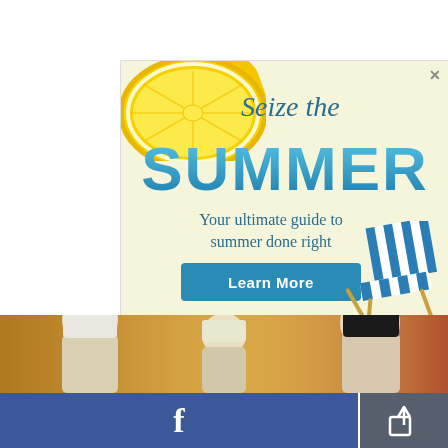[Figure (infographic): Summer advertisement banner with lemon slices, 'Seize the SUMMER' text, 'Your ultimate guide to summer done right' subheading, a Learn More button, and a beach chair graphic. Light yellow-green background.]
[Figure (photo): Bottom portion of page showing a photo strip with three people: a blonde woman on the left, a shorter blonde woman in center, and a dark-haired woman on the right, against a warm golden/orange background.]
[Figure (infographic): Facebook share bar at bottom: large blue Facebook button on the left with an 'f' logo, and a dark gray share/export button on the right.]